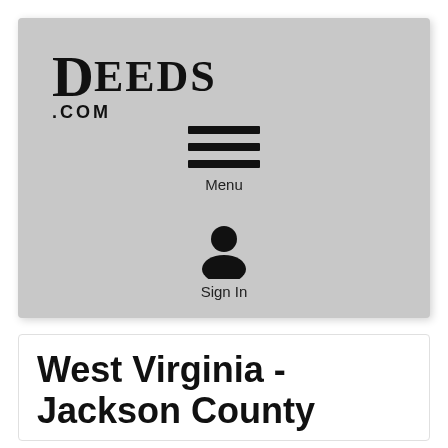[Figure (screenshot): Screenshot of Deeds.com website header showing the Deeds.com logo, a hamburger menu icon with 'Menu' label, and a user icon with 'Sign In' label, on a light gray background.]
West Virginia - Jackson County